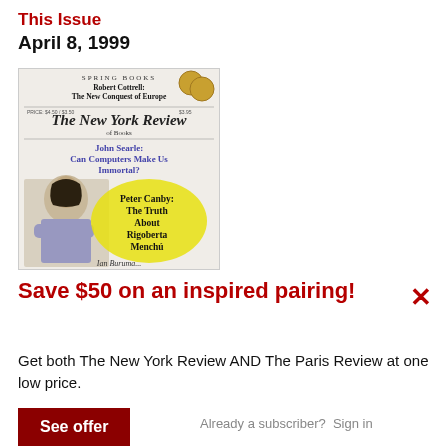This Issue
April 8, 1999
[Figure (illustration): Cover of The New York Review of Books, April 8, 1999 issue. Text reads: SPRING BOOKS, Robert Cottrell: The New Conquest of Europe, The New York Review of Books, John Searle: Can Computers Make Us Immortal?, Peter Canby: The Truth About Rigoberta Menchu. Shows a drawing of a woman with arms crossed.]
Save $50 on an inspired pairing!
Get both The New York Review AND The Paris Review at one low price.
See offer
Already a subscriber?  Sign in